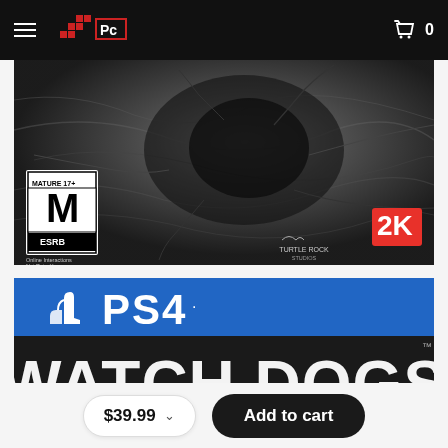Navigation header with logo and cart icon (0 items)
[Figure (photo): Dark horror game promotional image showing creature/monster texture in black and white, with ESRB Mature 17+ rating badge (M), Turtle Rock Studios and 2K logos in bottom right, text 'Online Interactions Not Rated by the ESRB']
[Figure (photo): PS4 game product image showing PlayStation 4 logo on blue background above large white text reading 'WATCH DOGS' on dark background]
$39.99 ∨   Add to cart